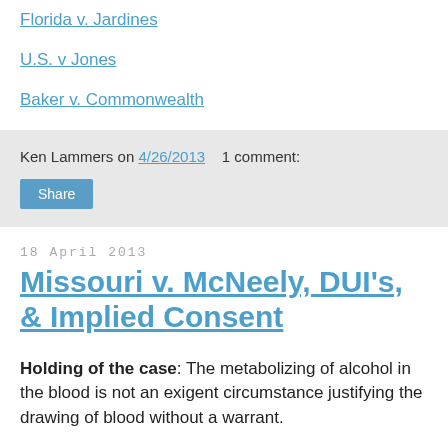Florida v. Jardines
U.S. v Jones
Baker v. Commonwealth
Ken Lammers on 4/26/2013   1 comment:
Share
18 April 2013
Missouri v. McNeely, DUI's, & Implied Consent
Holding of the case: The metabolizing of alcohol in the blood is not an exigent circumstance justifying the drawing of blood without a warrant.